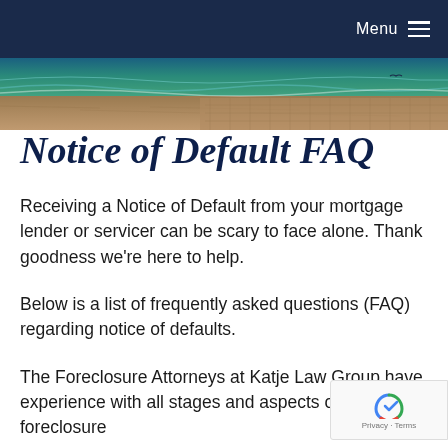Menu
[Figure (photo): Ocean/beach photo strip showing teal water waves and sandy/woven texture]
Notice of Default FAQ
Receiving a Notice of Default from your mortgage lender or servicer can be scary to face alone. Thank goodness we're here to help.
Below is a list of frequently asked questions (FAQ) regarding notice of defaults.
The Foreclosure Attorneys at Katje Law Group have experience with all stages and aspects of the foreclosure